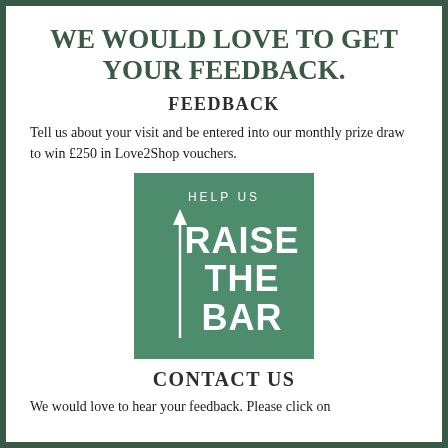WE WOULD LOVE TO GET YOUR FEEDBACK.
FEEDBACK
Tell us about your visit and be entered into our monthly prize draw to win £250 in Love2Shop vouchers.
[Figure (logo): Green square logo with upward arrow and text: HELP US RAISE THE BAR]
CONTACT US
We would love to hear your feedback. Please click on